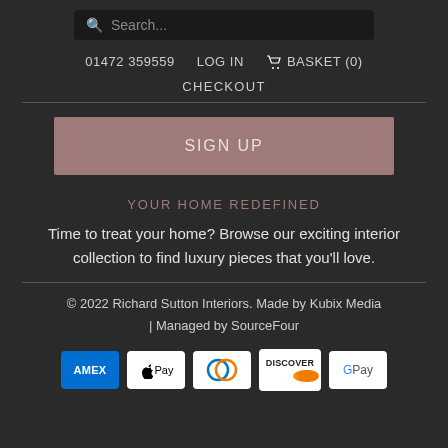Search...
01472 359559  LOG IN  BASKET (0)
CHECKOUT
SIGN UP
YOUR HOME REDEFINED
Time to treat your home? Browse our exciting interior collection to find luxury pieces that you'll love.
© 2022 Richard Sutton Interiors. Made by Kubix Media | Managed by SourceFour
[Figure (other): Payment method logos: American Express (AMEX), Apple Pay, Diners Club, Discover, Google Pay]